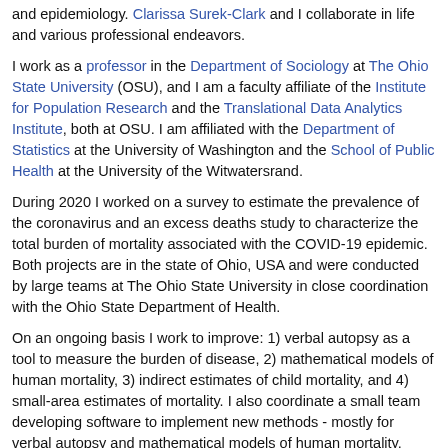and epidemiology. Clarissa Surek-Clark and I collaborate in life and various professional endeavors.
I work as a professor in the Department of Sociology at The Ohio State University (OSU), and I am a faculty affiliate of the Institute for Population Research and the Translational Data Analytics Institute, both at OSU. I am affiliated with the Department of Statistics at the University of Washington and the School of Public Health at the University of the Witwatersrand.
During 2020 I worked on a survey to estimate the prevalence of the coronavirus and an excess deaths study to characterize the total burden of mortality associated with the COVID-19 epidemic. Both projects are in the state of Ohio, USA and were conducted by large teams at The Ohio State University in close coordination with the Ohio State Department of Health.
On an ongoing basis I work to improve: 1) verbal autopsy as a tool to measure the burden of disease, 2) mathematical models of human mortality, 3) indirect estimates of child mortality, and 4) small-area estimates of mortality. I also coordinate a small team developing software to implement new methods - mostly for verbal autopsy and mathematical models of human mortality.
I lead the openVA Team that works to improve verbal autopsy. I have been a member of the WHO Verbal Autopsy Reference Group (VARG) since it was formed in 2013. Over the past several years I have been an active member of the VARG Task Group coordinating a comprehensive update of